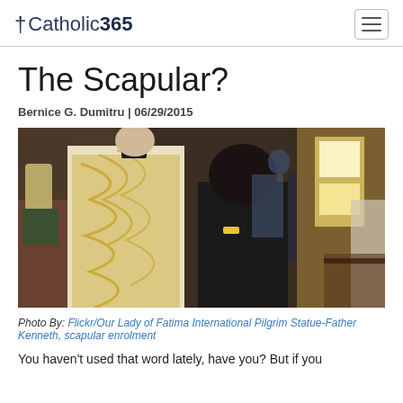†Catholic365
The Scapular?
Bernice G. Dumitru | 06/29/2015
[Figure (photo): A priest in ornate gold and white vestments performing a scapular enrolment ceremony on a man in a black suit inside a church. Bright light streams through windows in the background.]
Photo By: Flickr/Our Lady of Fatima International Pilgrim Statue-Father Kenneth, scapular enrolment
You haven't used that word lately, have you? But if you